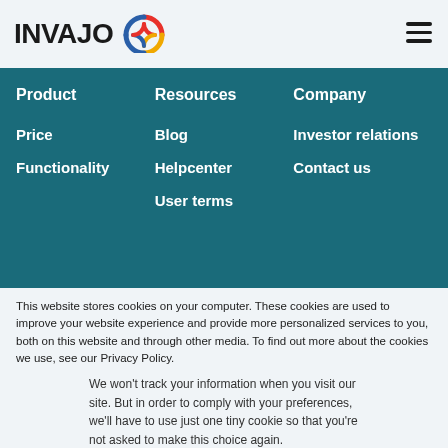[Figure (logo): INVAJO logo with circular icon in red, yellow, and blue]
Product
Resources
Company
Price
Blog
Investor relations
Functionality
Helpcenter
Contact us
User terms
This website stores cookies on your computer. These cookies are used to improve your website experience and provide more personalized services to you, both on this website and through other media. To find out more about the cookies we use, see our Privacy Policy.
We won't track your information when you visit our site. But in order to comply with your preferences, we'll have to use just one tiny cookie so that you're not asked to make this choice again.